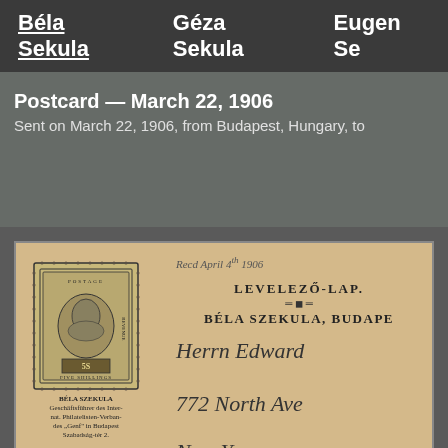Béla Sekula   Géza Sekula   Eugen Se
Postcard — March 22, 1906
Sent on March 22, 1906, from Budapest, Hungary, to
[Figure (photo): Scan of a 1906 postcard showing a 5 shilling postage stamp with a portrait, text 'BÉLA SZEKULA Geschäftsführer des Internat. Philatelisten-Verbandes Genf in Budapest Szabadság-tér 2', and on the right side the printed text 'LEVELEZŐ-LAP' and 'BÉLA SZEKULA, BUDAPE' with handwritten cursive address text including 'Herrn Edward', '772 North Ave', and 'New Y' (New York), plus a handwritten date at the top.]